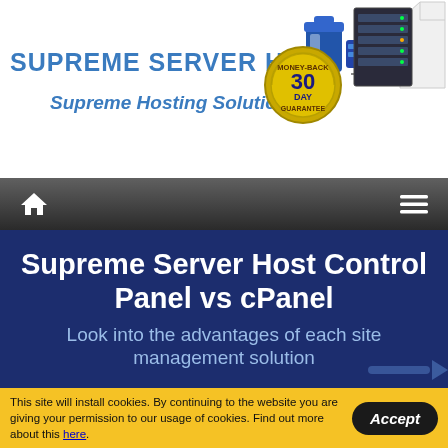[Figure (logo): Supreme Server Host logo with blue text, hosting equipment graphic, 30-day money-back guarantee badge, and server rack image]
Supreme Server Host — Supreme Hosting Solutions
[Figure (other): Navigation bar with home icon and hamburger menu icon on dark gradient background]
Supreme Server Host Control Panel vs cPanel
Look into the advantages of each site management solution
This site will install cookies. By continuing to the website you are giving your permission to our usage of cookies. Find out more about this here.